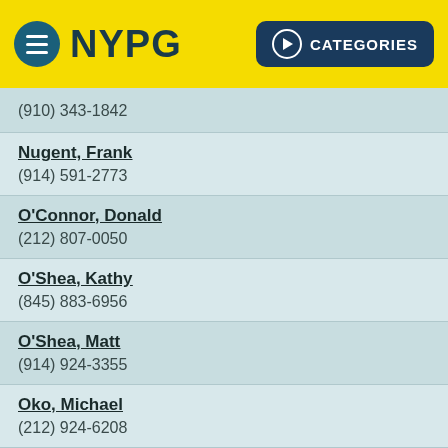NYPG  CATEGORIES
(910) 343-1842
Nugent, Frank
(914) 591-2773
O'Connor, Donald
(212) 807-0050
O'Shea, Kathy
(845) 883-6956
O'Shea, Matt
(914) 924-3355
Oko, Michael
(212) 924-6208
Oliver, Trent
(212) 675-7702